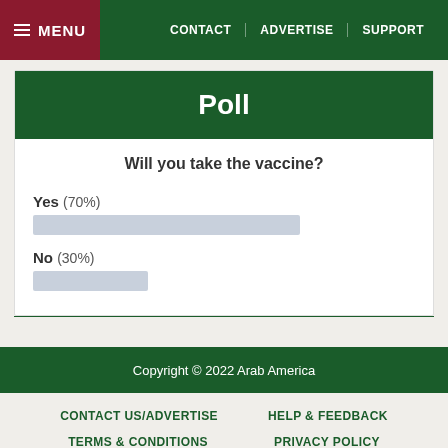MENU | CONTACT | ADVERTISE | SUPPORT
Poll
Will you take the vaccine?
[Figure (bar-chart): Will you take the vaccine?]
Copyright © 2022 Arab America
CONTACT US/ADVERTISE
HELP & FEEDBACK
TERMS & CONDITIONS
PRIVACY POLICY